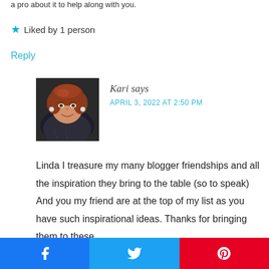a pro about it to help along with you.
★ Liked by 1 person
Reply
[Figure (photo): Profile photo of a woman with short reddish-brown hair, smiling.]
Kari says
APRIL 3, 2022 AT 2:50 PM
Linda I treasure my many blogger friendships and all the inspiration they bring to the table (so to speak) And you my friend are at the top of my list as you have such inspirational ideas. Thanks for bringing them to these